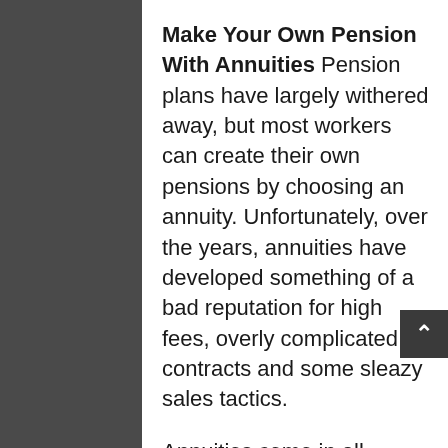Make Your Own Pension With Annuities
Pension plans have largely withered away, but most workers can create their own pensions by choosing an annuity. Unfortunately, over the years, annuities have developed something of a bad reputation for high fees, overly complicated contracts and some sleazy sales tactics.
Annuities come in all shapes and sizes, and some, like a single premium immediate annuity (SPIA) or a deferred income annuity, can provide reliable, consistent monthly payments until your death, just like a pension. In fact, a qualified longevity annuity